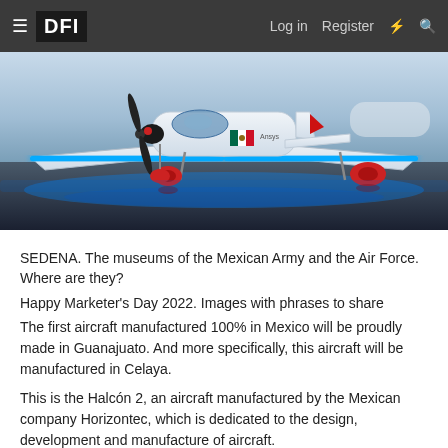≡ DFI   Log in   Register   ⚡   🔍
[Figure (photo): White aircraft (Halcón 2) with blue LED lighting on wings, red wheel covers, black propeller, and Mexican flag emblem on the fuselage, displayed indoors on a reflective floor.]
SEDENA. The museums of the Mexican Army and the Air Force. Where are they?
Happy Marketer's Day 2022. Images with phrases to share
The first aircraft manufactured 100% in Mexico will be proudly made in Guanajuato. And more specifically, this aircraft will be manufactured in Celaya.
This is the Halcón 2, an aircraft manufactured by the Mexican company Horizontec, which is dedicated to the design, development and manufacture of aircraft.